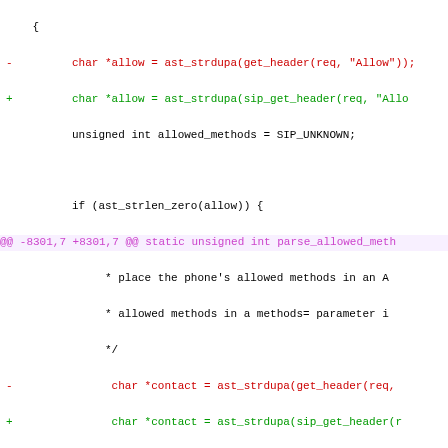Code diff showing changes replacing get_header with sip_get_header in SIP-related C source code.